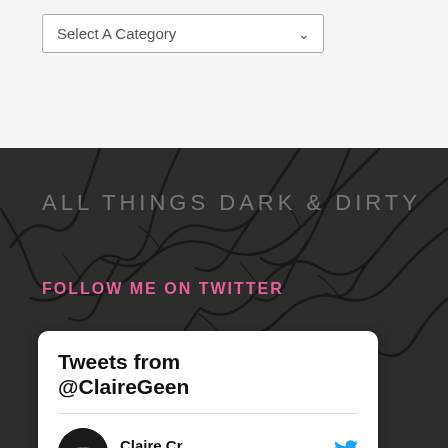[Figure (screenshot): Dropdown selector with label 'Select A Category']
ALL THINGS DARK & DIRTY
FOLLOW ME ON TWITTER
[Figure (screenshot): Twitter widget showing 'Tweets from @ClaireGeen' with a tweet from Claire Cr... @Cl... · 10h with text '★☆☆ NEW RELEASE ★★★']